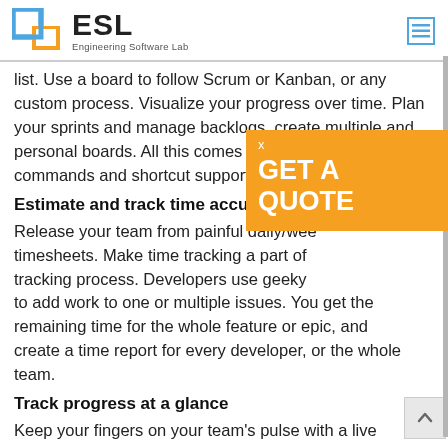ESL Engineering Software Lab
list. Use a board to follow Scrum or Kanban, or any custom process. Visualize your progress over time. Plan your sprints and manage backlogs, create multiple and personal boards. All this comes with smart search, commands and shortcut support.
Estimate and track time accurately
Release your team from painful daily/weekly timesheets. Make time tracking a part of tracking process. Developers use geeky commands to add work to one or multiple issues. You get the remaining time for the whole feature or epic, and create a time report for every developer, or the whole team.
Track progress at a glance
Keep your fingers on your team's pulse with a live